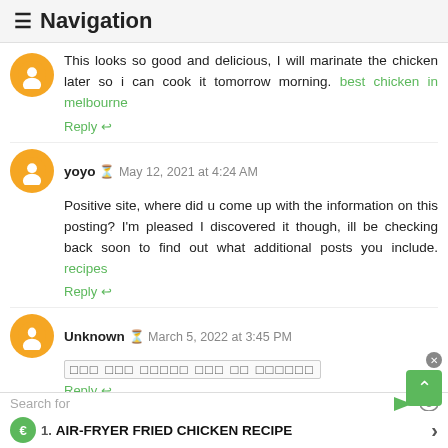≡ Navigation
This looks so good and delicious, I will marinate the chicken later so i can cook it tomorrow morning. best chicken in melbourne
Reply ↩
yoyo ⊙ May 12, 2021 at 4:24 AM
Positive site, where did u come up with the information on this posting? I'm pleased I discovered it though, ill be checking back soon to find out what additional posts you include. recipes
Reply ↩
Unknown ⊙ March 5, 2022 at 3:45 PM
[non-latin text]
Reply ↩
Search for
1. AIR-FRYER FRIED CHICKEN RECIPE